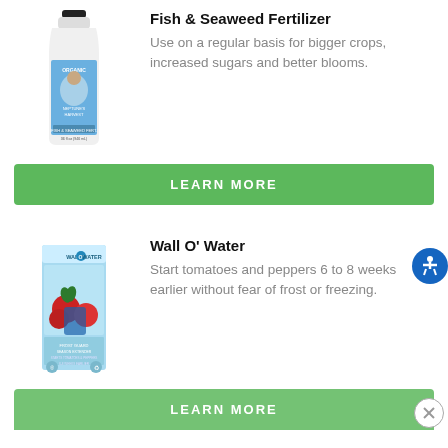[Figure (photo): Bottle of Neptune's Harvest Organic Fish & Seaweed Fertilizer with blue label]
Fish & Seaweed Fertilizer
Use on a regular basis for bigger crops, increased sugars and better blooms.
LEARN MORE
[Figure (photo): Box of Wall O' Water season extender with tomatoes illustration]
Wall O' Water
Start tomatoes and peppers 6 to 8 weeks earlier without fear of frost or freezing.
LEARN MORE